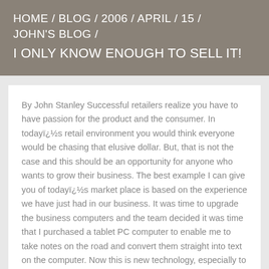HOME / BLOG / 2006 / APRIL / 15 / JOHN'S BLOG / I ONLY KNOW ENOUGH TO SELL IT!
By John Stanley Successful retailers realize you have to have passion for the product and the consumer. In todayï¿½s retail environment you would think everyone would be chasing that elusive dollar. But, that is not the case and this should be an opportunity for anyone who wants to grow their business. The best example I can give you of todayï¿½s market place is based on the experience we have just had in our business. It was time to upgrade the business computers and the team decided it was time that I purchased a tablet PC computer to enable me to take notes on the road and convert them straight into text on the computer. Now this is new technology, especially to me, I ventured into this development with some trepidation. We decided that the only thing to do was to venture into the computer store with a series of questions prior to purchasing the new toy for the business. We visited one of Perthï¿½s leading retail suppliers of laptop